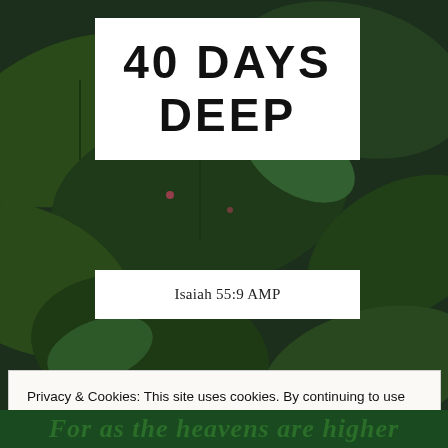[Figure (photo): Dark green tropical leaves background filling the upper portion of the page]
40 DAYS DEEP
Isaiah 55:9 AMP
Privacy & Cookies: This site uses cookies. By continuing to use this website, you agree to their use. To find out more, including how to control cookies, see here: Cookie Policy
Close and accept
For as the heavens are higher